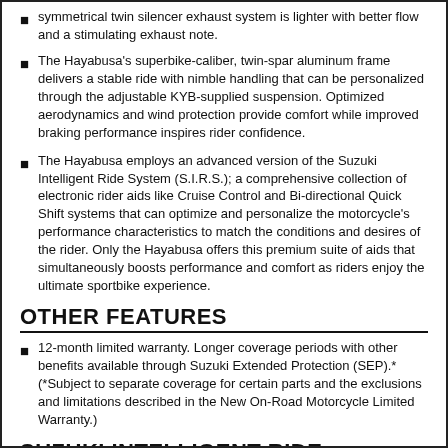symmetrical twin silencer exhaust system is lighter with better flow and a stimulating exhaust note.
The Hayabusa's superbike-caliber, twin-spar aluminum frame delivers a stable ride with nimble handling that can be personalized through the adjustable KYB-supplied suspension. Optimized aerodynamics and wind protection provide comfort while improved braking performance inspires rider confidence.
The Hayabusa employs an advanced version of the Suzuki Intelligent Ride System (S.I.R.S.); a comprehensive collection of electronic rider aids like Cruise Control and Bi-directional Quick Shift systems that can optimize and personalize the motorcycle's performance characteristics to match the conditions and desires of the rider. Only the Hayabusa offers this premium suite of aids that simultaneously boosts performance and comfort as riders enjoy the ultimate sportbike experience.
OTHER FEATURES
12-month limited warranty. Longer coverage periods with other benefits available through Suzuki Extended Protection (SEP).* (*Subject to separate coverage for certain parts and the exclusions and limitations described in the New On-Road Motorcycle Limited Warranty.)
SUZUKI INTELLIGENT RIDE SYSTEM...